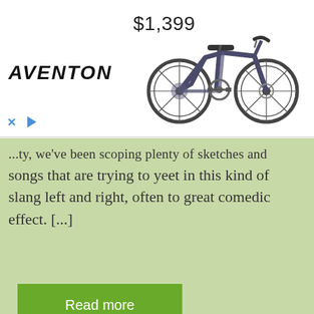[Figure (photo): Advertisement banner for Aventon electric bicycle priced at $1,399. Shows an Aventon logo in bold italic on the left, $1,399 price text at top center, and a photo of a dark blue/grey step-through electric bicycle on the right. Ad controls (X close button and play button) at bottom left.]
...ty, we've been scoping plenty of sketches and songs that are trying to yeet in this kind of slang left and right, often to great comedic effect. [...]
Read more